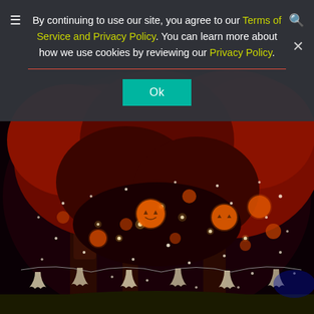[Figure (photo): Night photo of trees decorated with Halloween pumpkins and string lights, with ghost/skeleton bunting decorations at the bottom. Trees are lit in red light with glowing jack-o-lanterns scattered through the branches.]
By continuing to use our site, you agree to our Terms of Service and Privacy Policy. You can learn more about how we use cookies by reviewing our Privacy Policy.
Ok